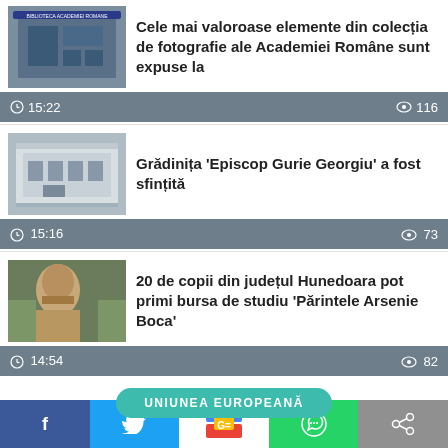[Figure (photo): Thumbnail of a library building with blue sign]
Cele mai valoroase elemente din colecția de fotografie ale Academiei Române sunt expuse la
15:22   116
[Figure (photo): Thumbnail of a white building]
Grădinița 'Episcop Gurie Georgiu' a fost sfințită
15:16   73
[Figure (photo): Thumbnail of a bearded man]
20 de copii din județul Hunedoara pot primi bursa de studiu 'Părintele Arsenie Boca'
14:54   82
UNIUNEA EUROPEANĂ
[Figure (photo): Thumbnail of gas pipes]
Comisia Europeană acuză Rusia că a închis Nord Stream sub pretexte false